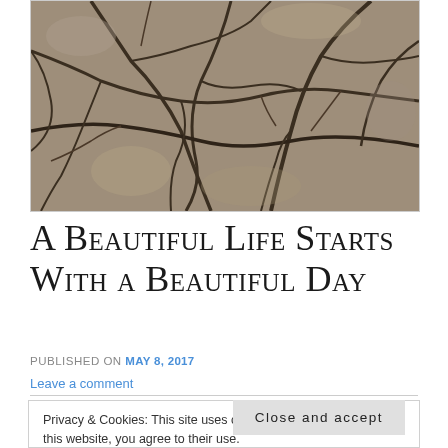[Figure (photo): Close-up photograph of cracked dry earth/mud, showing deep fissures in the dried soil surface with a brown/gray color palette.]
A Beautiful Life Starts With a Beautiful Day
PUBLISHED ON May 8, 2017
Leave a comment
Privacy & Cookies: This site uses cookies. By continuing to use this website, you agree to their use.
To find out more, including how to control cookies, see here: Cookie Policy